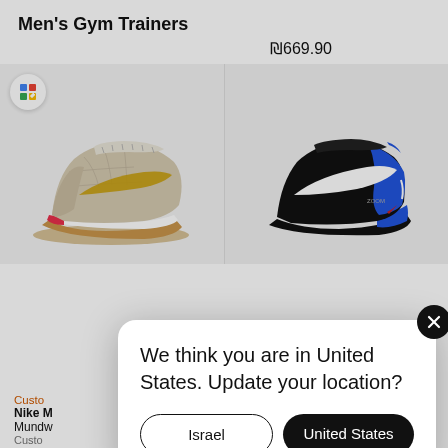Men's Gym Trainers
₪669.90
[Figure (screenshot): Two Nike gym trainer shoes side by side on a light grey background. Left shoe is beige/cream with gold swoosh and gum sole with pink accent. Right shoe is black with blue panel and white swoosh.]
Custom
Nike M
Mundw
Custom
1 Color

₪669.9
We think you are in United States. Update your location?
Israel
United States